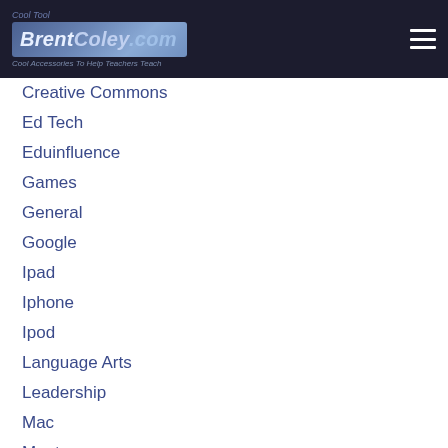BrentColey.com
Cool Tool
Creative Commons
Ed Tech
Eduinfluence
Games
General
Google
Ipad
Iphone
Ipod
Language Arts
Leadership
Mac
Mentor
Organization
Pe
Plagiarism
Plc